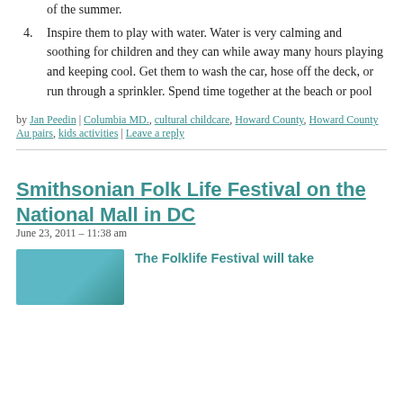of the summer.
4. Inspire them to play with water. Water is very calming and soothing for children and they can while away many hours playing and keeping cool. Get them to wash the car, hose off the deck, or run through a sprinkler. Spend time together at the beach or pool
by Jan Peedin | Columbia MD., cultural childcare, Howard County, Howard County Au pairs, kids activities | Leave a reply
Smithsonian Folk Life Festival on the National Mall in DC
June 23, 2011 – 11:38 am
The Folklife Festival will take